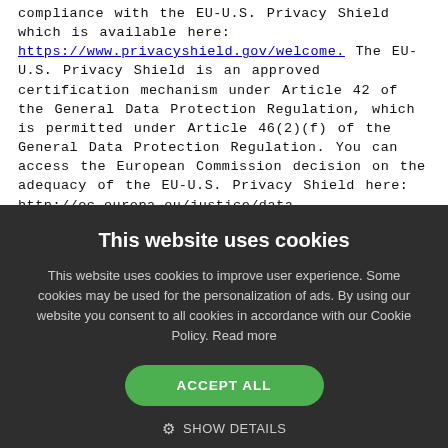compliance with the EU-U.S. Privacy Shield which is available here: https://www.privacyshield.gov/welcome. The EU-U.S. Privacy Shield is an approved certification mechanism under Article 42 of the General Data Protection Regulation, which is permitted under Article 46(2)(f) of the General Data Protection Regulation. You can access the European Commission decision on the adequacy of the EU-U.S. Privacy Shield here: http://ec.europa.eu/justice/data-protection/international-
This website uses cookies
This website uses cookies to improve user experience. Some cookies may be used for the personalization of ads. By using our website you consent to all cookies in accordance with our Cookie Policy. Read more
ACCEPT ALL
SHOW DETAILS